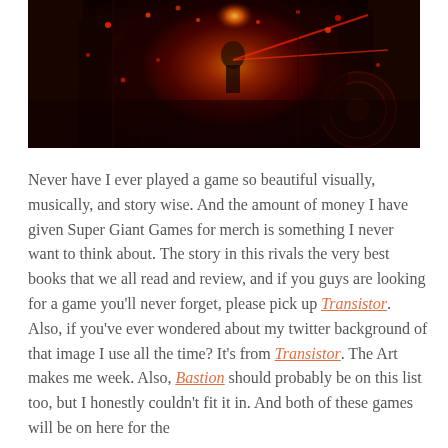[Figure (photo): Dark, atmospheric screenshot from the video game Transistor showing a glowing figure surrounded by red light and dark machinery/industrial environment.]
Never have I ever played a game so beautiful visually, musically, and story wise. And the amount of money I have given Super Giant Games for merch is something I never want to think about. The story in this rivals the very best books that we all read and review, and if you guys are looking for a game you’ll never forget, please pick up Transistor. Also, if you’ve ever wondered about my twitter background of that image I use all the time? It’s from Transistor. The Art makes me week. Also, Bastion should probably be on this list too, but I honestly couldn’t fit it in. And both of these games will be on here for the